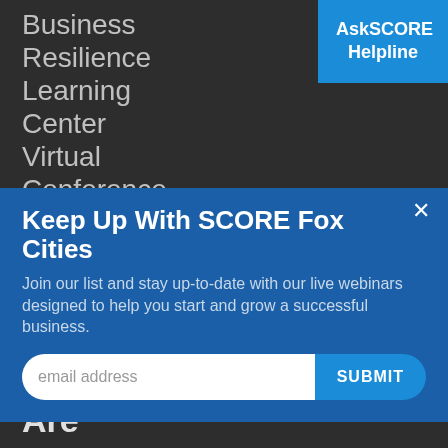Business
Resilience
Learning
Center
Virtual
Conference
AskSCORE Helpline
Keep Up With SCORE Fox Cities
Join our list and stay up-to-date with our live webinars designed to help you start and grow a successful business.
email address
SUBMIT
Who
We
Are